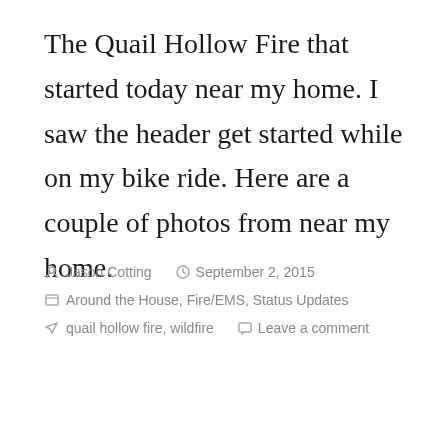The Quail Hollow Fire that started today near my home. I saw the header get started while on my bike ride. Here are a couple of photos from near my home.
Jason Cotting  September 2, 2015  Around the House, Fire/EMS, Status Updates  quail hollow fire, wildfire  Leave a comment